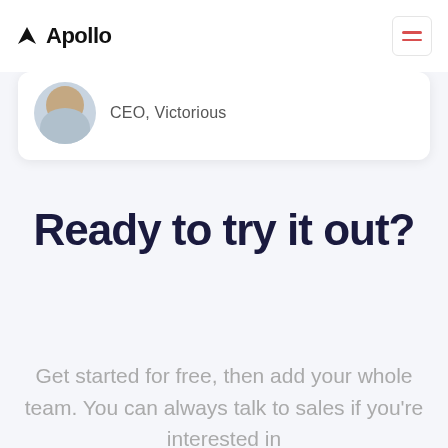Apollo
CEO, Victorious
Ready to try it out?
Get started for free, then add your whole team. You can always talk to sales if you're interested in